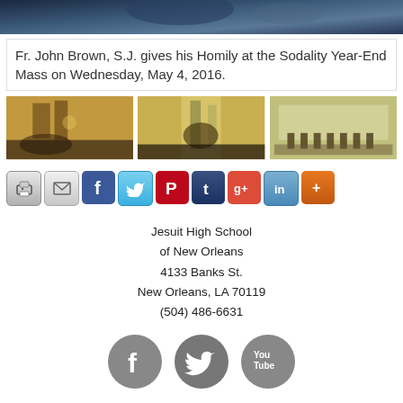[Figure (photo): Top banner photo of a church/mass scene, dark blue tones]
Fr. John Brown, S.J. gives his Homily at the Sodality Year-End Mass on Wednesday, May 4, 2016.
[Figure (photo): Three thumbnail photos of the Sodality Year-End Mass church event]
[Figure (screenshot): Social sharing buttons: Print, Email, Facebook, Twitter, Pinterest, Tumblr, Google+, LinkedIn, More]
Jesuit High School
of New Orleans
4133 Banks St.
New Orleans, LA 70119
(504) 486-6631
[Figure (illustration): Social media icons: Facebook, Twitter, YouTube]